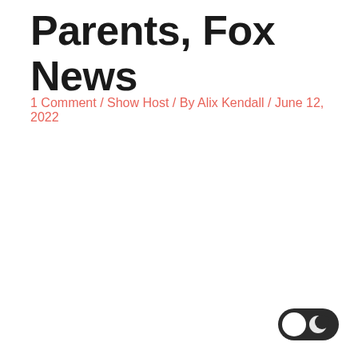Parents, Fox News
1 Comment / Show Host / By Alix Kendall / June 12, 2022
[Figure (other): Dark mode toggle switch UI element, showing a toggle with a white circle on the left (light mode) and a crescent moon icon on the right (dark mode), with a dark rounded pill background.]